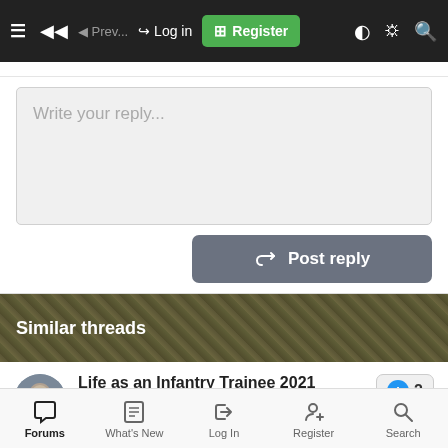≡ ◀◀ ◄ →] Log in ⊞ Register
Write your reply...
Post reply
Similar threads
Life as an Infantry Trainee 2021
exspy · Infantry
Replies: 25 · 2 Dec 2021
Forums  What's New  Log In  Register  Search